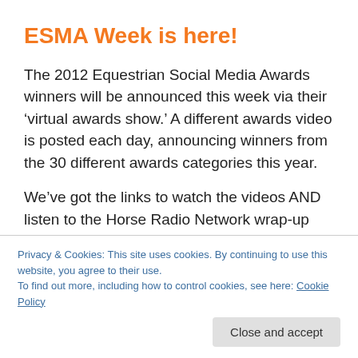ESMA Week is here!
The 2012 Equestrian Social Media Awards winners will be announced this week via their ‘virtual awards show.’ A different awards video is posted each day, announcing winners from the 30 different awards categories this year.
We’ve got the links to watch the videos AND listen to the Horse Radio Network wrap-up next Monday, March 12th. If you’re using social networking and social media for your horsebiz, tune in to find out what’s considered ‘the best of
Privacy & Cookies: This site uses cookies. By continuing to use this website, you agree to their use.
To find out more, including how to control cookies, see here: Cookie Policy
Close and accept